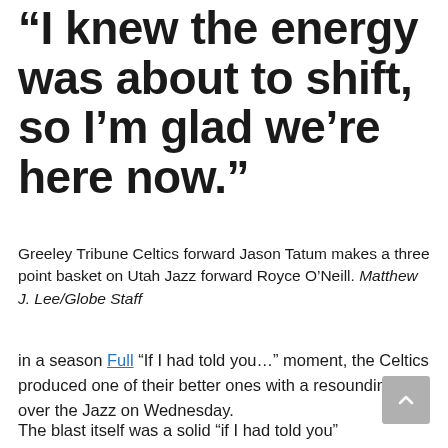“I knew the energy was about to shift, so I’m glad we’re here now.”
Greeley Tribune Celtics forward Jason Tatum makes a three point basket on Utah Jazz forward Royce O’Neill. Matthew J. Lee/Globe Staff
in a season Full “If I had told you…” moment, the Celtics produced one of their better ones with a resounding win over the Jazz on Wednesday.
The blast itself was a solid “if I had told you”